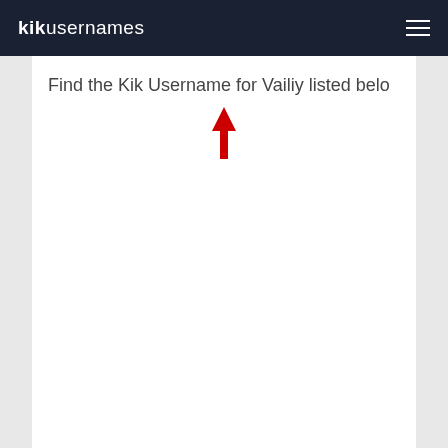kikusernames
Find the Kik Username for Vailiy listed belo
[Figure (illustration): Red downward-pointing arrow icon]